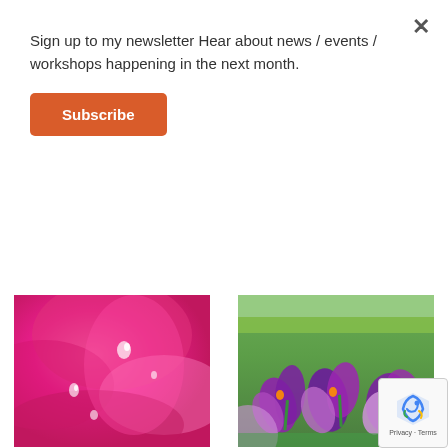Sign up to my newsletter Hear about news / events / workshops happening in the next month.
Subscribe
[Figure (photo): Close-up photograph of pink rose petals with water droplets]
Rose drop
£14.99 – £95.99
Select options
[Figure (photo): Photograph of purple crocus flowers in grass with trees in background]
Crocuses circle the Bandstand
£14.99 – £95.99
Select options